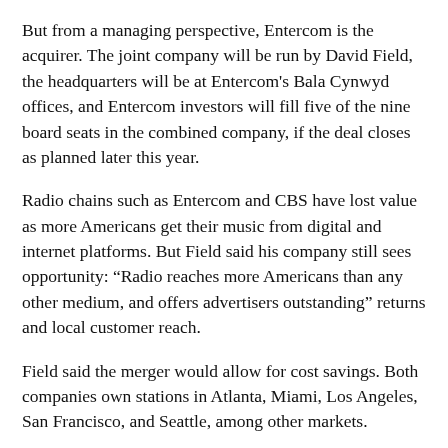But from a managing perspective, Entercom is the acquirer. The joint company will be run by David Field, the headquarters will be at Entercom's Bala Cynwyd offices, and Entercom investors will fill five of the nine board seats in the combined company, if the deal closes as planned later this year.
Radio chains such as Entercom and CBS have lost value as more Americans get their music from digital and internet platforms. But Field said his company still sees opportunity: “Radio reaches more Americans than any other medium, and offers advertisers outstanding” returns and local customer reach.
Field said the merger would allow for cost savings. Both companies own stations in Atlanta, Miami, Los Angeles, San Francisco, and Seattle, among other markets.
CBS’s Philadelphia stations include KYW (news), WIP (sports), WPHT (talk), WXTU (country), WOGL (“classic hits”), and WTDY (Top 40). Entercom owns stations in Boston, Denver, Miami, San Francisco, and more than 30...